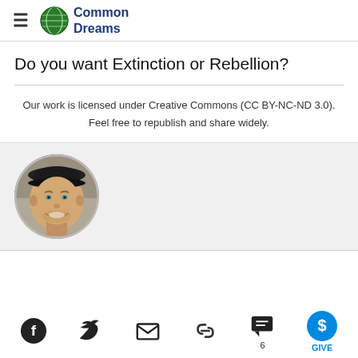Common Dreams
Do you want Extinction or Rebellion?
Our work is licensed under Creative Commons (CC BY-NC-ND 3.0). Feel free to republish and share widely.
[Figure (photo): Circular author headshot photo of a smiling man wearing a black cap]
Social share toolbar with Facebook, Twitter, email, link, comment (6), and GIVE buttons